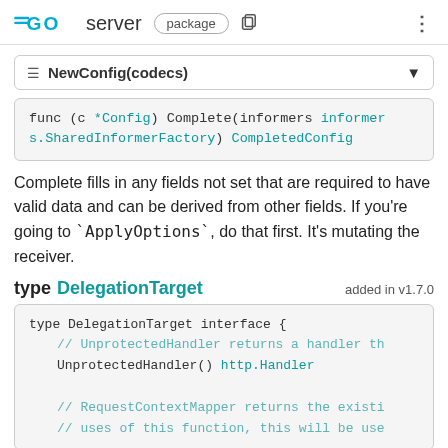GO server package
NewConfig(codecs)
func (c *Config) Complete(informers informers.SharedInformerFactory) CompletedConfig
Complete fills in any fields not set that are required to have valid data and can be derived from other fields. If you're going to `ApplyOptions`, do that first. It's mutating the receiver.
type DelegationTarget  added in v1.7.0
type DelegationTarget interface {
    // UnprotectedHandler returns a handler th
    UnprotectedHandler() http.Handler

    // RequestContextMapper returns the existi
    // uses of this function, this will be use